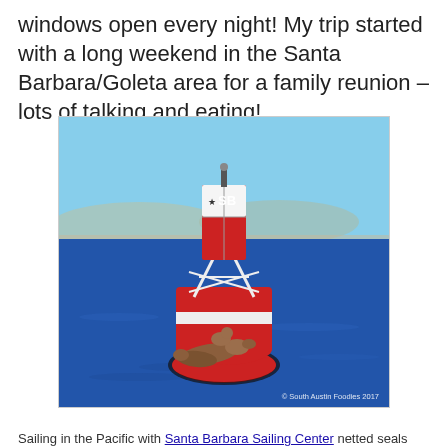windows open every night! My trip started with a long weekend in the Santa Barbara/Goleta area for a family reunion – lots of talking and eating!
[Figure (photo): A red and white navigation buoy labeled 'SB' floating in the Pacific Ocean with sea lions resting on its base. Blue water and coastline visible in background. Watermark reads '© South Austin Foodies 2017'.]
Sailing in the Pacific with Santa Barbara Sailing Center netted seals